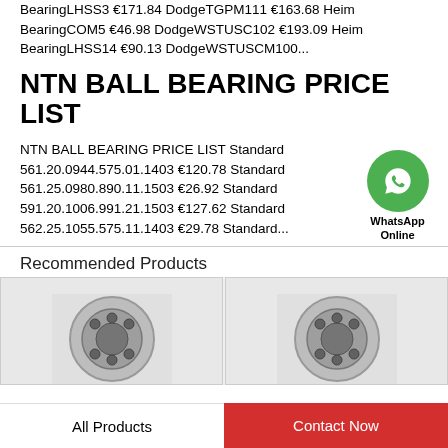BearingLHSS3 €171.84 DodgeTPGM111 €163.68 Heim BearingCOM5 €46.98 DodgeWSTUSC102 €193.09 Heim BearingLHSS14 €90.13 DodgeWSTUSCM100...
NTN BALL BEARING PRICE LIST
NTN BALL BEARING PRICE LIST Standard 561.20.0944.575.01.1403 €120.78 Standard 561.25.0980.890.11.1503 €26.92 Standard 591.20.1006.991.21.1503 €127.62 Standard 562.25.1055.575.11.1403 €29.78 Standard...
[Figure (logo): WhatsApp Online green circle chat icon with label WhatsApp Online]
Recommended Products
[Figure (photo): Two product images of bearings side by side]
All Products
Contact Now